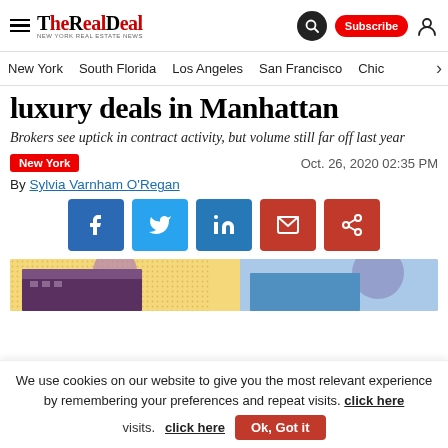THE REAL DEAL | New York Real Estate News
New York | South Florida | Los Angeles | San Francisco | Chic
luxury deals in Manhattan
Brokers see uptick in contract activity, but volume still far off last year
New York | Oct. 26, 2020 02:35 PM
By Sylvia Varnham O'Regan
[Figure (infographic): Social share buttons: Facebook, Twitter, LinkedIn, Email, Share]
[Figure (photo): Article image showing building with yellow dotted background and geometric shapes]
We use cookies on our website to give you the most relevant experience by remembering your preferences and repeat visits. click here | Ok, Got it